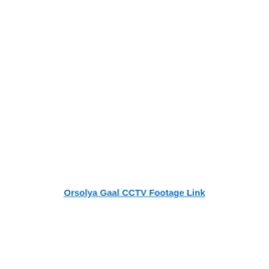Orsolya Gaal CCTV Footage Link